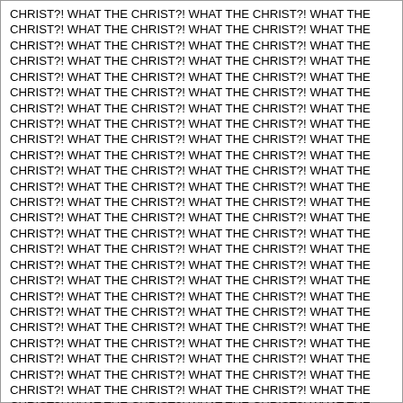CHRIST?! WHAT THE CHRIST?! WHAT THE CHRIST?! WHAT THE CHRIST?! WHAT THE CHRIST?! WHAT THE CHRIST?! WHAT THE CHRIST?! WHAT THE CHRIST?! WHAT THE CHRIST?! WHAT THE CHRIST?! WHAT THE CHRIST?! WHAT THE CHRIST?! WHAT THE CHRIST?! WHAT THE CHRIST?! WHAT THE CHRIST?! WHAT THE CHRIST?! WHAT THE CHRIST?! WHAT THE CHRIST?! WHAT THE CHRIST?! WHAT THE CHRIST?! WHAT THE CHRIST?! WHAT THE CHRIST?! WHAT THE CHRIST?! WHAT THE CHRIST?! WHAT THE CHRIST?! WHAT THE CHRIST?! WHAT THE CHRIST?! WHAT THE CHRIST?! WHAT THE CHRIST?! WHAT THE CHRIST?! WHAT THE CHRIST?! WHAT THE CHRIST?! WHAT THE CHRIST?! WHAT THE CHRIST?! WHAT THE CHRIST?! WHAT THE CHRIST?! WHAT THE CHRIST?! WHAT THE CHRIST?! WHAT THE CHRIST?! WHAT THE CHRIST?! WHAT THE CHRIST?! WHAT THE CHRIST?! WHAT THE CHRIST?! WHAT THE CHRIST?! WHAT THE CHRIST?! WHAT THE CHRIST?! WHAT THE CHRIST?! WHAT THE CHRIST?! WHAT THE CHRIST?! WHAT THE CHRIST?! WHAT THE CHRIST?! WHAT THE CHRIST?! WHAT THE CHRIST?! WHAT THE CHRIST?! WHAT THE CHRIST?! WHAT THE CHRIST?! WHAT THE CHRIST?! WHAT THE CHRIST?! WHAT THE CHRIST?! WHAT THE CHRIST?! WHAT THE CHRIST?! WHAT THE CHRIST?! WHAT THE CHRIST?! WHAT THE CHRIST?! WHAT THE CHRIST?! WHAT THE CHRIST?! WHAT THE